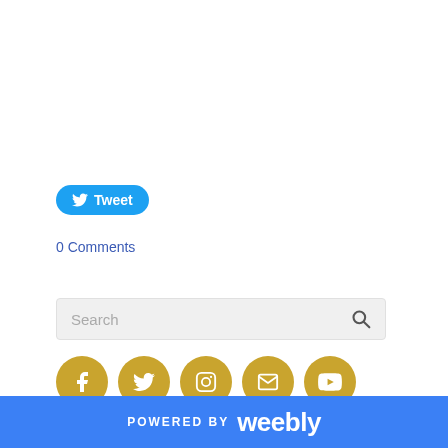[Figure (other): Tweet button with Twitter bird icon and text 'Tweet' on blue rounded pill background]
0 Comments
[Figure (other): Search box with placeholder text 'Search' and magnifying glass icon]
[Figure (other): Row of five social media icon circles in gold: Facebook, Twitter, Instagram, Email, YouTube]
AFFORCI
POWERED BY weebly